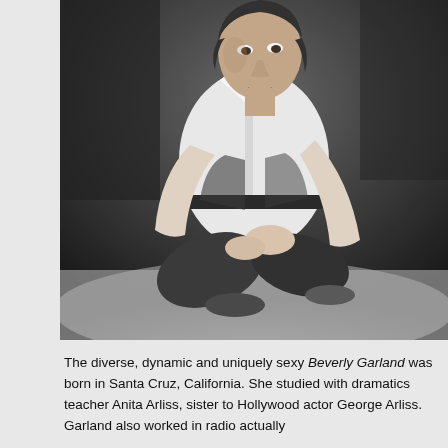[Figure (photo): Black and white photograph of Beverly Garland sitting cross-legged on the floor, wearing a white button-up shirt with a dark belt and dark trousers, looking upward and to the side.]
The diverse, dynamic and uniquely sexy Beverly Garland was born in Santa Cruz, California. She studied with dramatics teacher Anita Arliss, sister to Hollywood actor George Arliss. Garland also worked in radio actually